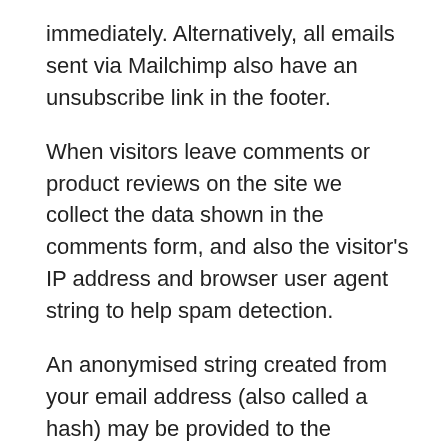immediately. Alternatively, all emails sent via Mailchimp also have an unsubscribe link in the footer.
When visitors leave comments or product reviews on the site we collect the data shown in the comments form, and also the visitor's IP address and browser user agent string to help spam detection.
An anonymised string created from your email address (also called a hash) may be provided to the Gravatar service to see if you are using it. The Gravatar service privacy policy is available here: https://automattic.com/privacy/. After approval of your comment, your profile picture is visible to